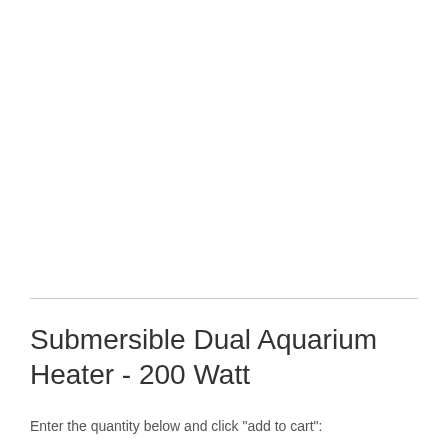Submersible Dual Aquarium Heater - 200 Watt
Enter the quantity below and click "add to cart":